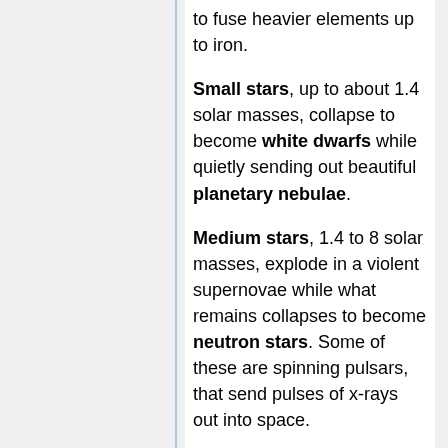to fuse heavier elements up to iron.
Small stars, up to about 1.4 solar masses, collapse to become white dwarfs while quietly sending out beautiful planetary nebulae.
Medium stars, 1.4 to 8 solar masses, explode in a violent supernovae while what remains collapses to become neutron stars. Some of these are spinning pulsars, that send pulses of x-rays out into space.
Large stars, born with many solar masses, explode even more violently into supernovae. Sometimes they blow themselves to bits and no central star remains. Sometimes only enough of the star remains to form a neutron star ... but if more than about 2 times the mass of the Sun remains after the explosion, it